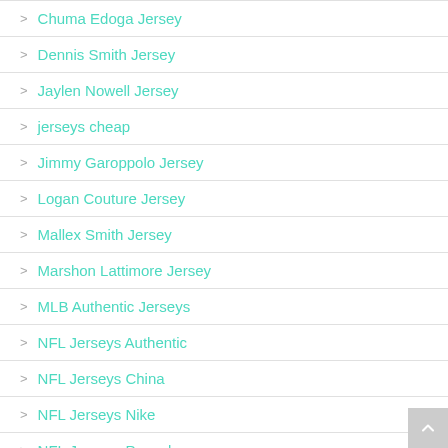Chuma Edoga Jersey
Dennis Smith Jersey
Jaylen Nowell Jersey
jerseys cheap
Jimmy Garoppolo Jersey
Logan Couture Jersey
Mallex Smith Jersey
Marshon Lattimore Jersey
MLB Authentic Jerseys
NFL Jerseys Authentic
NFL Jerseys China
NFL Jerseys Nike
NFL Jerseys Paypal
NHL Hockey Jerseys
Nike NFL Jerseys